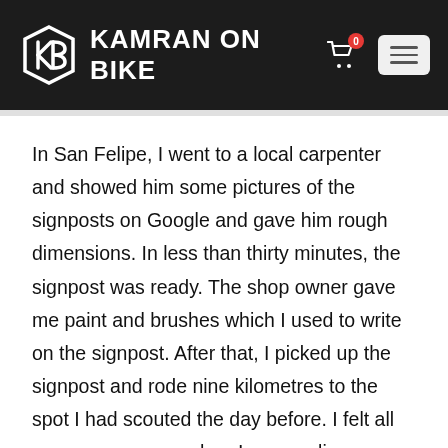KAMRAN ON BIKE
In San Felipe, I went to a local carpenter and showed him some pictures of the signposts on Google and gave him rough dimensions. In less than thirty minutes, the signpost was ready. The shop owner gave me paint and brushes which I used to write on the signpost. After that, I picked up the signpost and rode nine kilometres to the spot I had scouted the day before. I felt all eyes were on me when I was cycling through San Felipe with the signpost on my shoulder. I must have looked